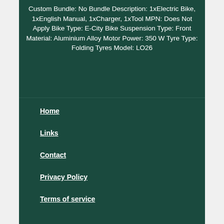Custom Bundle: No Bundle Description: 1xElectric Bike, 1xEnglish Manual, 1xCharger, 1xTool MPN: Does Not Apply Bike Type: E-City Bike Suspension Type: Front Material: Aluminium Alloy Motor Power: 350 W Tyre Type: Folding Tyres Model: LO26
Home
Links
Contact
Privacy Policy
Terms of service